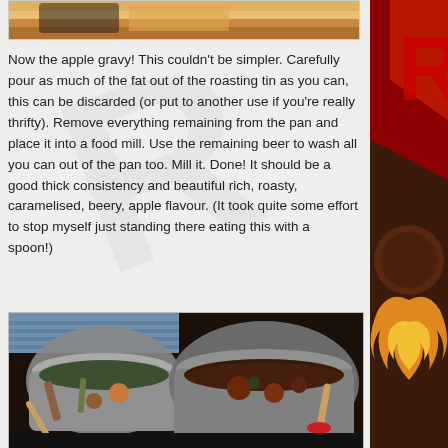[Figure (photo): Partial view of food in a roasting tin at top of page]
Now the apple gravy! This couldn't be simpler. Carefully pour as much of the fat out of the roasting tin as you can, this can be discarded (or put to another use if you're really thrifty). Remove everything remaining from the pan and place it into a food mill. Use the remaining beer to wash all you can out of the pan too. Mill it. Done! It should be a good thick consistency and beautiful rich, roasty, caramelised, beery, apple flavour. (It took quite some effort to stop myself just standing there eating this with a spoon!)
[Figure (photo): Two cooking pots on a stove, one containing vegetables and herbs, the other containing a dark braising liquid with meat]